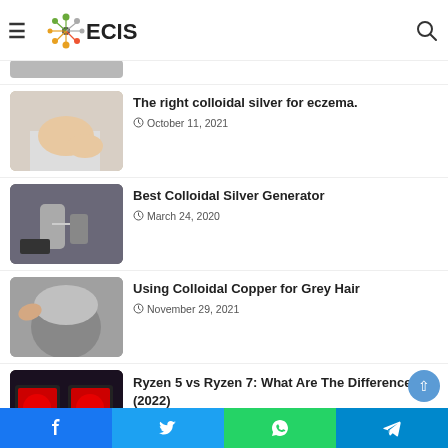ECIS
[Figure (photo): Partial view of a laptop or device - cropped at top]
The right colloidal silver for eczema.
October 11, 2021
[Figure (photo): Photo of a person scratching their elbow - eczema illustration]
Best Colloidal Silver Generator
March 24, 2020
[Figure (photo): Photo of a colloidal silver generator device on a table]
Using Colloidal Copper for Grey Hair
November 29, 2021
[Figure (photo): Photo of a person with grey hair being touched]
Ryzen 5 vs Ryzen 7: What Are The Differences? (2022)
February 7, 2022
[Figure (photo): Photo of Ryzen CPU boxes]
Facebook | Twitter | WhatsApp | Telegram